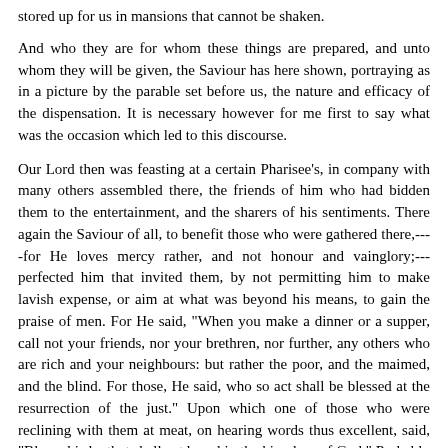stored up for us in mansions that cannot be shaken.
And who they are for whom these things are prepared, and unto whom they will be given, the Saviour has here shown, portraying as in a picture by the parable set before us, the nature and efficacy of the dispensation. It is necessary however for me first to say what was the occasion which led to this discourse.
Our Lord then was feasting at a certain Pharisee's, in company with many others assembled there, the friends of him who had bidden them to the entertainment, and the sharers of his sentiments. There again the Saviour of all, to benefit those who were gathered there,----for He loves mercy rather, and not honour and vainglory;---perfected him that invited them, by not permitting him to make lavish expense, or aim at what was beyond his means, to gain the praise of men. For He said, "When you make a dinner or a supper, call not your friends, nor your brethren, nor further, any others who are rich and your neighbours: but rather the poor, and the maimed, and the blind. For those, He said, who so act shall be blessed at the resurrection of the just." Upon which one of those who were reclining with them at meat, on hearing words thus excellent, said, "Blessed is he that shall eat bread in the kingdom of God." Probably however this man was not as yet spiritual, but rather animal, nor fitted to understand correctly what was spoken by Christ: for he was not one of those who believed, nor had he as yet been baptized. For he supposed that the rewards of the saints, for